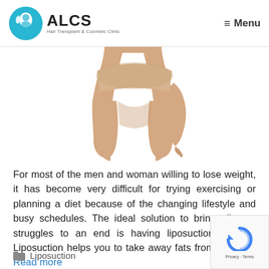ALCS Hair Transplant & Cosmetic Clinic  ≡ Menu
[Figure (photo): Close-up photo of a woman's lower torso and thighs in beige underwear on white background, illustrating liposuction target areas]
For most of the men and woman willing to lose weight, it has become very difficult for trying exercising or planning a diet because of the changing lifestyle and busy schedules. The ideal solution to bring all your struggles to an end is having liposuction surgery. Liposuction helps you to take away fats from those … Read more
Liposuction